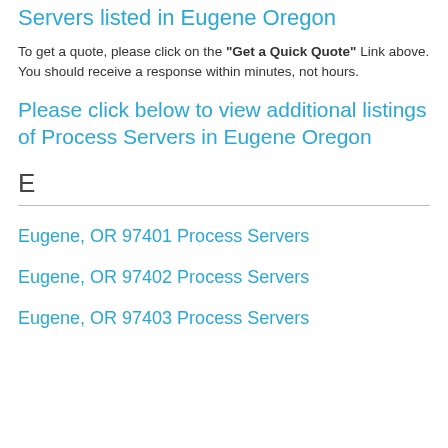Servers listed in Eugene Oregon
To get a quote, please click on the "Get a Quick Quote" Link above. You should receive a response within minutes, not hours.
Please click below to view additional listings of Process Servers in Eugene Oregon
E
Eugene, OR 97401 Process Servers
Eugene, OR 97402 Process Servers
Eugene, OR 97403 Process Servers